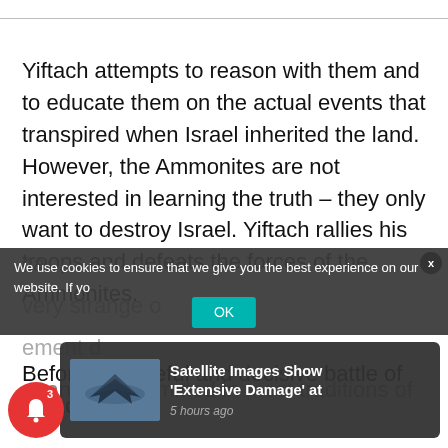Yiftach attempts to reason with them and to educate them on the actual events that transpired when Israel inherited the land. However, the Ammonites are not interested in learning the truth – they only want to destroy Israel. Yiftach rallies his troops and defeats the forces of the Ammonites.
Before the fateful and decisive battle of Yiftach's ca...
We use cookies to ensure that we give you the best experience on our website. If yo...
[Figure (screenshot): News notification popup showing a military jet image with headline 'Satellite Images Show Extensive Damage' at, 5 hours ago]